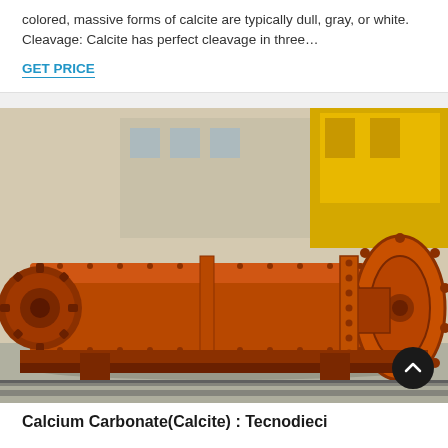colored, massive forms of calcite are typically dull, gray, or white. Cleavage: Calcite has perfect cleavage in three…
GET PRICE
[Figure (photo): Large industrial orange ball mill machine on rails in a factory/warehouse setting. The machine has a long cylindrical body with bolted flanges, a large circular end cap with bolts, and mechanical components. Background shows a yellow crane and building structures.]
Calcium Carbonate(Calcite) : Tecnodieci